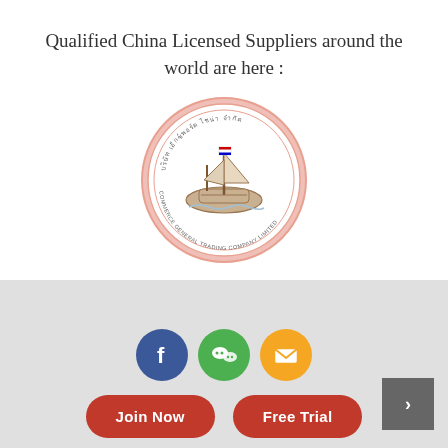Qualified China Licensed Suppliers around the world are here :
[Figure (logo): Circular logo with a Thai sailing ship illustration in the center, surrounded by Thai/English text, with a light pink/salmon border circle]
[Figure (infographic): Row of 12 navigation dots, first dot is dark/active, rest are light gray]
[Figure (infographic): Three social media/contact buttons: Facebook (blue circle with F), WeChat (green circle with chat icon), Email (orange circle with envelope icon)]
[Figure (infographic): Two red pill-shaped CTA buttons: 'Join Now' and 'Free Trial', and a gray square button with arrow on the right]
Join Now
Free Trial